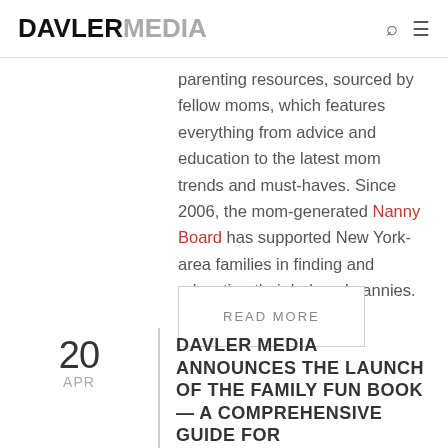DAVLERMEDIA
parenting resources, sourced by fellow moms, which features everything from advice and education to the latest mom trends and must-haves. Since 2006, the mom-generated Nanny Board has supported New York-area families in finding and relocating their beloved nannies.
READ MORE
20 APR
DAVLER MEDIA ANNOUNCES THE LAUNCH OF THE FAMILY FUN BOOK — A COMPREHENSIVE GUIDE FOR